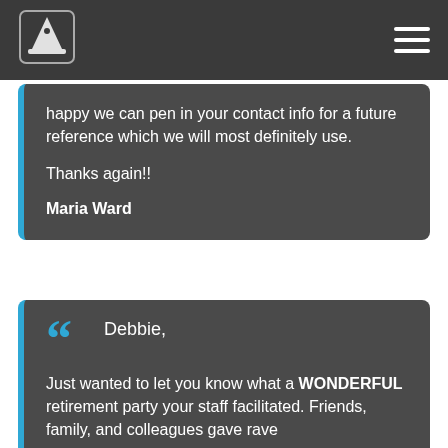Navigation bar with logo and hamburger menu
happy we can pen in your contact info for a future reference which we will most definitely use.

Thanks again!!

Maria Ward
Debbie,

Just wanted to let you know what a WONDERFUL retirement party your staff facilitated. Friends, family, and colleagues gave rave